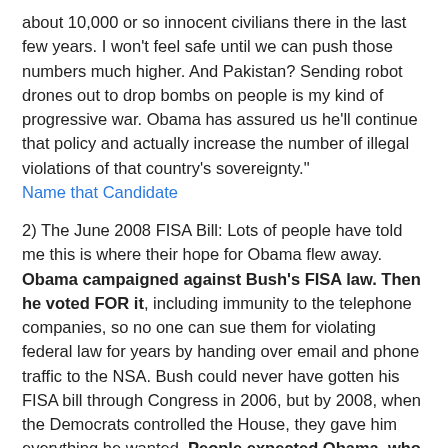about 10,000 or so innocent civilians there in the last few years. I won't feel safe until we can push those numbers much higher. And Pakistan? Sending robot drones out to drop bombs on people is my kind of progressive war. Obama has assured us he'll continue that policy and actually increase the number of illegal violations of that country's sovereignty."
Name that Candidate
2) The June 2008 FISA Bill: Lots of people have told me this is where their hope for Obama flew away. Obama campaigned against Bush's FISA law. Then he voted FOR it, including immunity to the telephone companies, so no one can sue them for violating federal law for years by handing over email and phone traffic to the NSA. Bush could never have gotten his FISA bill through Congress in 2006, but by 2008, when the Democrats controlled the House, they gave him everything he wanted. People expected Obama, who taught Constitutional law, to protect their rights, but Obama went out of his way to make an unpopular vote to bolster the "war on terror" and set the basis for expanded political repression. He voted for an